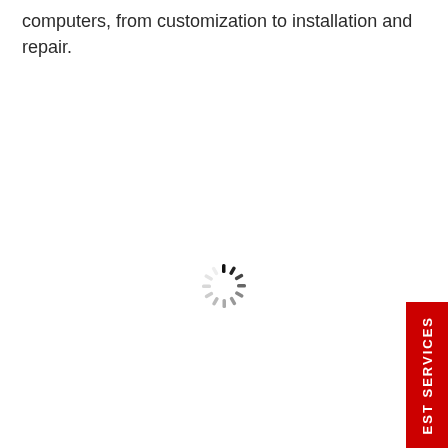computers, from customization to installation and repair.
[Figure (other): Loading spinner icon — circular arrangement of short radial lines fading from dark to light, indicating a loading state]
[Figure (other): Vertical red sidebar tab with white rotated text reading 'EST SERVICES']